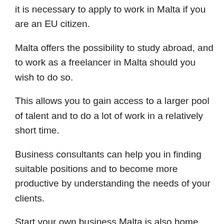it is necessary to apply to work in Malta if you are an EU citizen.
Malta offers the possibility to study abroad, and to work as a freelancer in Malta should you wish to do so.
This allows you to gain access to a larger pool of talent and to do a lot of work in a relatively short time.
Business consultants can help you in finding suitable positions and to become more productive by understanding the needs of your clients.
Start your own business Malta is also home